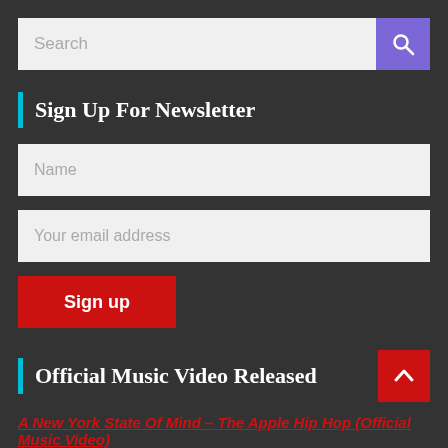[Figure (screenshot): Search bar input field with gray background and purple search button with magnifying glass icon]
Sign Up For Newsletter
[Figure (screenshot): Name input field with gray background]
[Figure (screenshot): Your email address input field with gray background]
[Figure (screenshot): Red Sign up button]
Official Music Video Released
A New York State Of Mind – The Apple Hip Hop (Official Music Video)